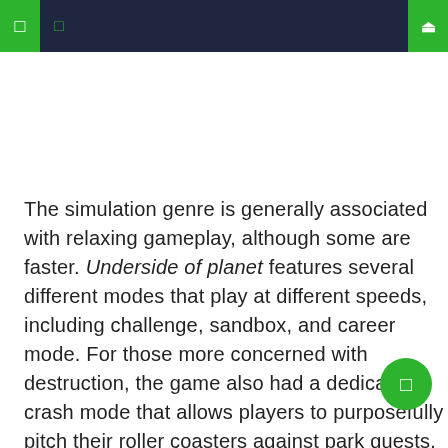navigation header with menu icons and search
The simulation genre is generally associated with relaxing gameplay, although some are faster. Underside of planet features several different modes that play at different speeds, including challenge, sandbox, and career mode. For those more concerned with destruction, the game also had a dedicated crash mode that allows players to purposefully pitch their roller coasters against park guests. In addition to building roller coasters, players will also manage park facilities and hire staff to gain a park rating. Underside of planet retains the same colorful visual design as Creator of roller coasters with fun and quirky sound design elements.